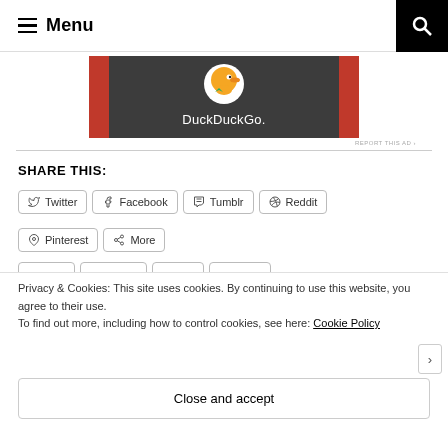≡ Menu
[Figure (logo): DuckDuckGo advertisement banner with duck logo and text 'DuckDuckGo.' on dark background with orange/red side borders]
REPORT THIS AD
SHARE THIS:
Twitter  Facebook  Tumblr  Reddit  Pinterest  More
Privacy & Cookies: This site uses cookies. By continuing to use this website, you agree to their use.
To find out more, including how to control cookies, see here: Cookie Policy
Close and accept